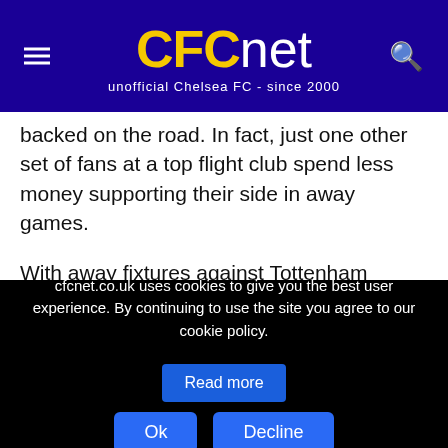CFCnet unofficial Chelsea FC - since 2000
backed on the road. In fact, just one other set of fans at a top flight club spend less money supporting their side in away games.
With away fixtures against Tottenham Hotspur and champions Leicester City approaching, fans will be getting ready to travel in their numbers to support Conte's men throughout the next few weeks.
If Chelsea continue to stay firm at the back, there's absolutely no reason why the Blues cannot build a solid lead at the top of
cfcnet.co.uk uses cookies to give you the best user experience. By continuing to use the site you agree to our cookie policy. Read more Ok Decline